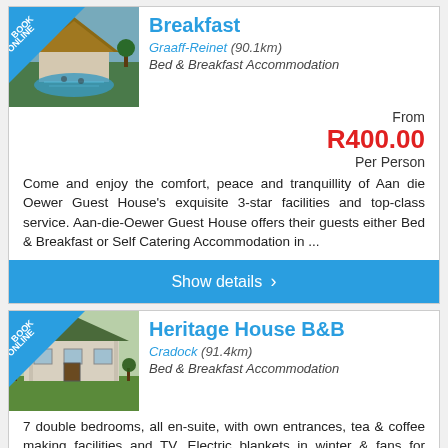Breakfast
Graaff-Reinet (90.1km)
Bed & Breakfast Accommodation
From R400.00 Per Person
Come and enjoy the comfort, peace and tranquillity of Aan die Oewer Guest House's exquisite 3-star facilities and top-class service. Aan-die-Oewer Guest House offers their guests either Bed & Breakfast or Self Catering Accommodation in ...
Show details ›
Heritage House B&B
Cradock (91.4km)
Bed & Breakfast Accommodation
7 double bedrooms, all en-suite, with own entrances, tea & coffee making facilities and TV. Electric blankets in winter & fans for summer. Tranquil surroundings with swimming pool and secure off-street parking. Relax after your tiring journey